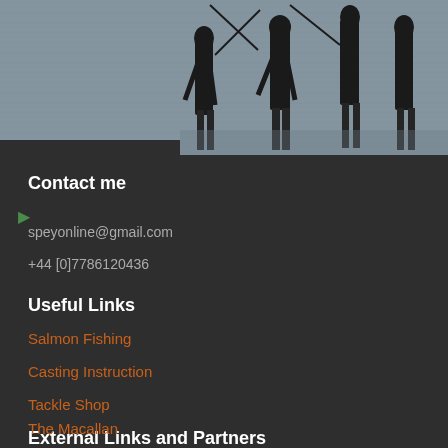[Figure (photo): Photograph of people wading in a river, fishing with rods, black and white tones]
Contact me
speyonline@gmail.com
+44 [0]7786120436
Useful Links
Salmon Fishing
Casting Instruction
Tackle Shop
External Links and Partners
The Macallan